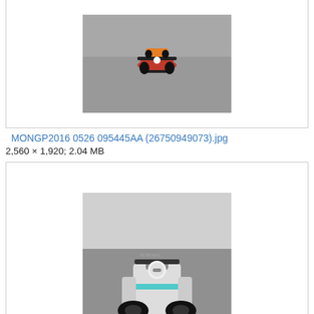[Figure (photo): Formula 1 race cars on track, top portion of image, partially cropped at top]
MONGP2016 0526 095445AA (26750949073).jpg
2,560 × 1,920; 2.04 MB
[Figure (photo): Mercedes Formula 1 car (silver/white) on track, frontal view, sunny conditions]
MONGP2016 0526 095454AA (27259527602).jpg
1,280 × 960; 553 KB
[Figure (photo): Formula 1 cars on track, partially visible at bottom of page]